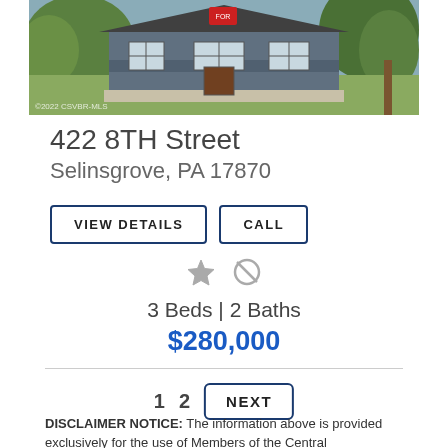[Figure (photo): Photo of a house at 422 8TH Street, Selinsgrove PA, with gray siding and green lawn]
422 8TH Street
Selinsgrove, PA 17870
VIEW DETAILS   CALL
3 Beds | 2 Baths
$280,000
1   2   NEXT
DISCLAIMER NOTICE: The information above is provided exclusively for the use of Members of the Central Susquehanna Valley MLS ('CSVBR-MLS'). Buyers and all other